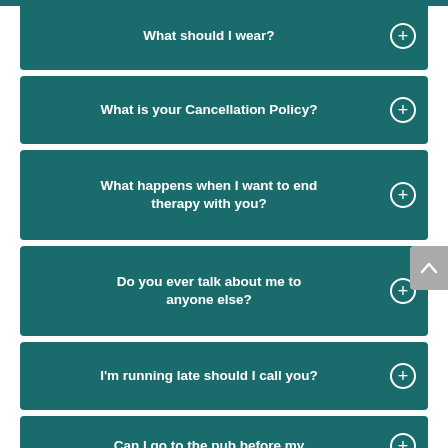What should I wear?
What is your Cancellation Policy?
What happens when I want to end therapy with you?
Do you ever talk about me to anyone else?
I'm running late should I call you?
Can I go to the pub before my